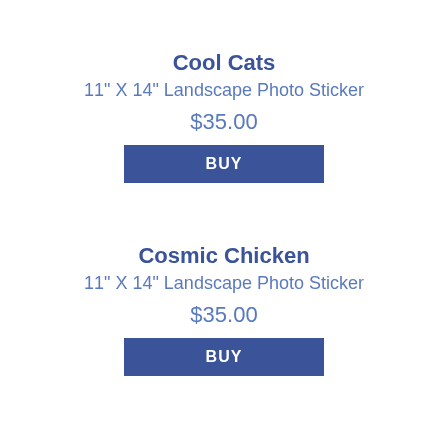Cool Cats
11" X 14" Landscape Photo Sticker
$35.00
BUY
Cosmic Chicken
11" X 14" Landscape Photo Sticker
$35.00
BUY